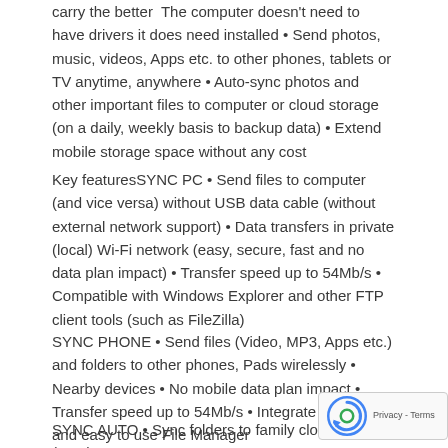carry the better  The computer doesn't need to have drivers it does need installed • Send photos, music, videos, Apps etc. to other phones, tablets or TV anytime, anywhere • Auto-sync photos and other important files to computer or cloud storage (on a daily, weekly basis to backup data) • Extend mobile storage space without any cost
Key featuresSYNC PC • Send files to computer (and vice versa) without USB data cable (without external network support) • Data transfers in private (local) Wi-Fi network (easy, secure, fast and no data plan impact) • Transfer speed up to 54Mb/s • Compatible with Windows Explorer and other FTP client tools (such as FileZilla)
SYNC PHONE • Send files (Video, MP3, Apps etc.) and folders to other phones, Pads wirelessly • Nearby devices • No mobile data plan impact • Transfer speed up to 54Mb/s • Integrate powerful and easy to use File Manager
SYNC AUTO • Sync folders to family cloud storage (PC, lap... file server etc.) automatically • Sync folders to cloud storage